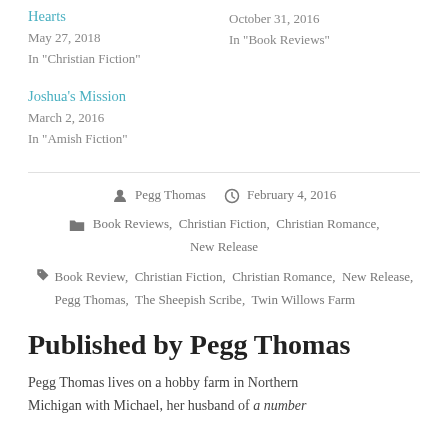Hearts
May 27, 2018
In "Christian Fiction"
October 31, 2016
In "Book Reviews"
Joshua's Mission
March 2, 2016
In "Amish Fiction"
By Pegg Thomas   February 4, 2016
Book Reviews, Christian Fiction, Christian Romance, New Release
Book Review, Christian Fiction, Christian Romance, New Release, Pegg Thomas, The Sheepish Scribe, Twin Willows Farm
Published by Pegg Thomas
Pegg Thomas lives on a hobby farm in Northern Michigan with Michael, her husband of *a number*